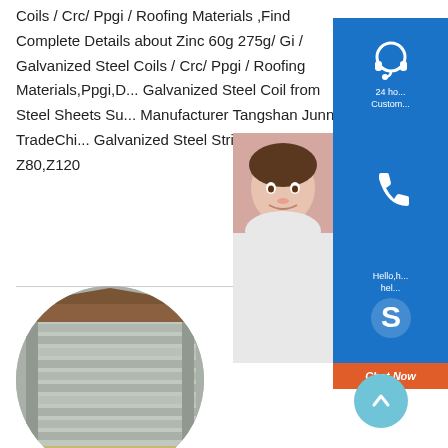Coils / Crc/ Ppgi / Roofing Materials ,Find Complete Details about Zinc 60g 275g/ Gi / Galvanized Steel Coils / Crc/ Ppgi / Roofing Materials,Ppgi,D... Galvanized Steel Coil from Steel Sheets Su... Manufacturer Tangshan Junnan TradeChi... Galvanized Steel Strip in Coil Z80,Z120
[Figure (photo): Circular cropped photo of stacked galvanized steel coils/sheets stored in a warehouse or outdoor facility]
[Figure (infographic): Customer service chat widget overlay with headset icon (24h Customer Service), phone icon, agent photo, Skype icon with Hello/help text, and orange Chat Now button]